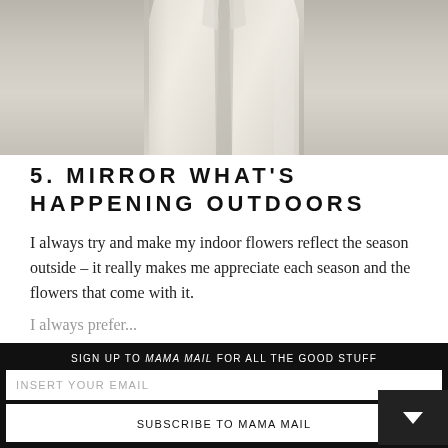[Figure (photo): Close-up photo of white/cream fabric or shirt hanging, soft diffuse lighting, light gray-beige tones]
5. MIRROR WHAT'S HAPPENING OUTDOORS
I always try and make my indoor flowers reflect the season outside – it really makes me appreciate each season and the flowers that come with it.
I always prefer...
SIGN UP TO MAMA MAIL FOR ALL THE GOOD STUFF
INSERT YOUR EMAIL
SUBSCRIBE TO MAMA MAIL